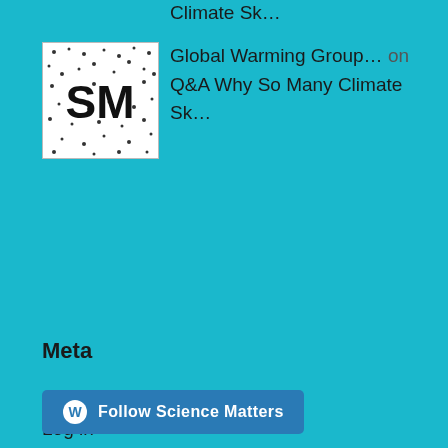Climate Sk…
[Figure (logo): SM logo — black text 'SM' with dot/scatter pattern on white background]
Global Warming Group… on Q&A Why So Many Climate Sk…
Meta
Register
Log in
Entries feed
Comments feed
WordPress.com
[Figure (logo): WordPress follow button: 'Follow Science Matters' with WordPress W icon, dark blue rounded rectangle]